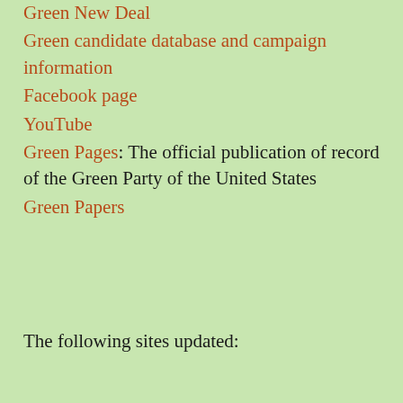Green New Deal
Green candidate database and campaign information
Facebook page
YouTube
Green Pages: The official publication of record of the Green Party of the United States
Green Papers
The following sites updated:
[Figure (other): Small white/light gray thumbnail image]
Oh Boy It Never Ends